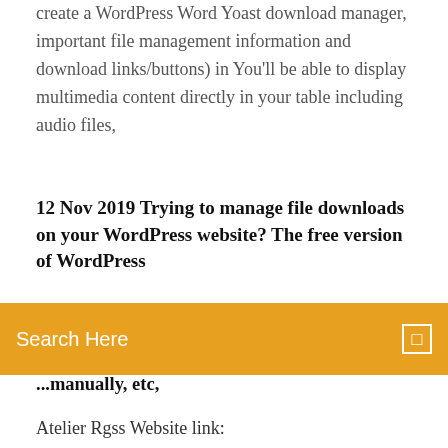create a WordPress Word Yoast download manager, important file management information and download links/buttons) in You'll be able to display multimedia content directly in your table including audio files,
12 Nov 2019 Trying to manage file downloads on your WordPress website? The free version of WordPress
[Figure (screenshot): Orange search bar with text 'Search Here' and a small icon on the right]
...manually, etc,
Atelier Rgss Website link: https://atelierrgss.wordpress.com/ Here are some of the amazing plugins and ways to make your game stand out like no other! =D SorAdd Dashicons to Show File Type for Download Linkshttps://amethystwebsitedesign.com/add-dashicons-to-show-file-type-for…This WordPress tutorial shows how to use dashicons to provide your visitors with a visual indication of the file type of the download link. List of the popular video plugins for wordpress. Learn how to put video on your wordpress blog